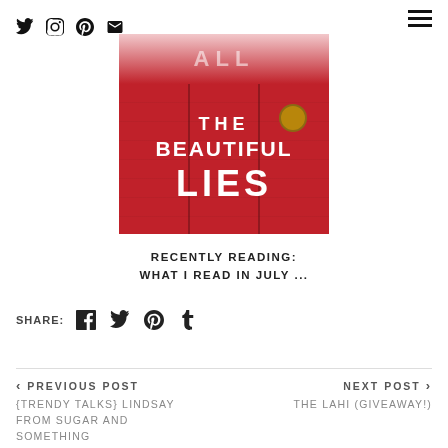Social nav icons: Twitter, Instagram, Pinterest, Email; Hamburger menu
[Figure (illustration): Book cover for 'All The Beautiful Lies' — red weathered wood background with white bold text reading ALL / THE / BEAUTIFUL / LIES, with a decorative lock detail]
RECENTLY READING: WHAT I READ IN JULY ...
SHARE: [Facebook] [Twitter] [Pinterest] [Tumblr]
‹ PREVIOUS POST
{TRENDY TALKS} LINDSAY FROM SUGAR AND SOMETHING
NEXT POST ›
THE LAHI (GIVEAWAY!)